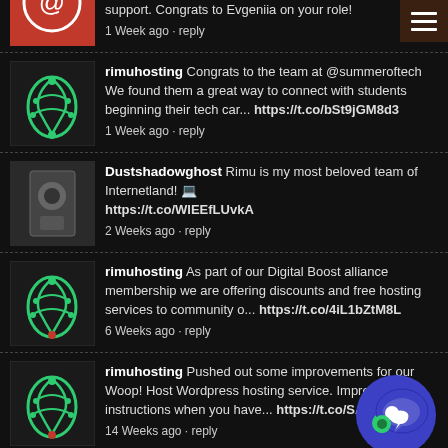support. Congrats to Evgeniia on your role! 1 Week ago · reply
rimuhosting Congrats to the team at @summeroftech We found them a great way to connect with students beginning their tech car... https://t.co/bSt9jGM8d3 1 Week ago · reply
Dustshadowghost Rimu is my most beloved team of Internetland! 🍀 https://t.co/WIEEfLUvkA 2 Weeks ago · reply
rimuhosting As part of our Digital Boost alliance membership we are offering discounts and free hosting services to community o... https://t.co/4iL1bZtM8L 6 Weeks ago · reply
rimuhosting Pushed out some improvements for our Woop! Host Wordpress hosting service. Improved DNS instructions when you have... https://t.co/SAorRLr6Ng 14 Weeks ago · reply
rimuhosting DNSSec options now available at